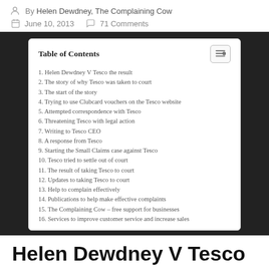By Helen Dewdney, The Complaining Cow — June 10, 2013 — 71 Comments
| # | Section |
| --- | --- |
| 1. | Helen Dewdney V Tesco the result |
| 2. | The story of why Tesco was taken to court |
| 3. | The start of the story |
| 4. | Trying to use Clubcard vouchers on the Tesco website |
| 5. | Attempted correspondence with Tesco |
| 6. | Threatening Tesco with legal action |
| 7. | Writing to Tesco CEO |
| 8. | A response from Tesco |
| 9. | Starting the Small Claims case against Tesco |
| 10. | Tesco tried to settle out of court |
| 11. | The result of taking Tesco to court |
| 12. | Updates to taking Tesco to court |
| 13. | Help to complain effectively |
| 14. | Publications to help make effective complaints |
| 15. | The Complaining Cow – free support for businesses |
| 16. | Services to improve customer service and increase sales |
Helen Dewdney V Tesco the